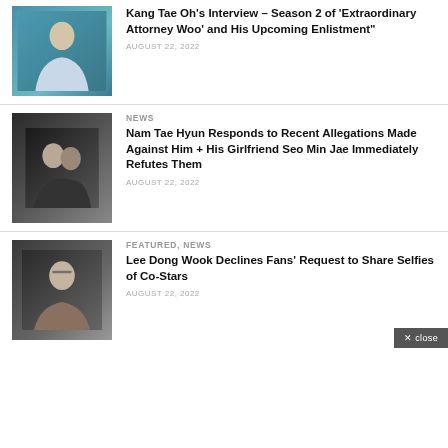[Figure (photo): Photo of Kang Tae Oh, young Korean actor in light blue shirt against teal background]
Kang Tae Oh's Interview – Season 2 of 'Extraordinary Attorney Woo' and His Upcoming Enlistment"
AUGUST 22, 2022
[Figure (photo): Photo of Nam Tae Hyun and Seo Min Jae together, close-up selfie]
NEWS
Nam Tae Hyun Responds to Recent Allegations Made Against Him + His Girlfriend Seo Min Jae Immediately Refutes Them
AUGUST 22, 2022
[Figure (photo): Photo of Lee Dong Wook, Korean actor with glasses at an event]
FEATURED, NEWS
Lee Dong Wook Declines Fans' Request to Share Selfies of Co-Stars
AUGUST 22, 2022